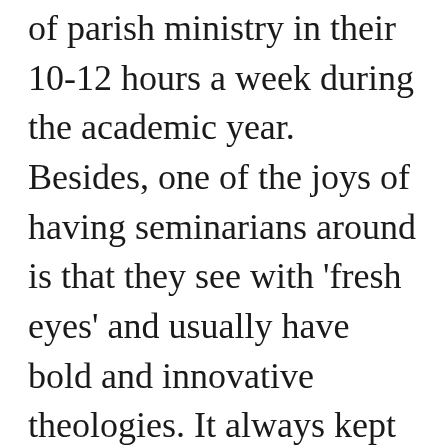of parish ministry in their 10-12 hours a week during the academic year. Besides, one of the joys of having seminarians around is that they see with 'fresh eyes' and usually have bold and innovative theologies. It always kept me on my toes to engage seminarians in